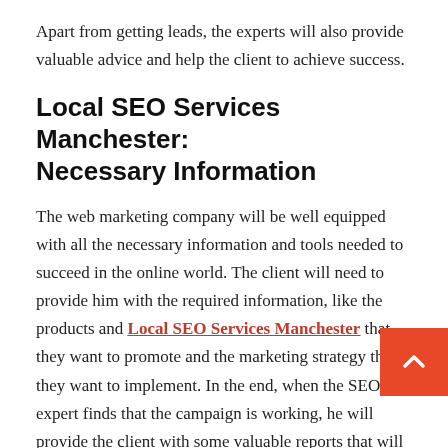Apart from getting leads, the experts will also provide valuable advice and help the client to achieve success.
Local SEO Services Manchester: Necessary Information
The web marketing company will be well equipped with all the necessary information and tools needed to succeed in the online world. The client will need to provide him with the required information, like the products and Local SEO Services Manchester that they want to promote and the marketing strategy that they want to implement. In the end, when the SEO expert finds that the campaign is working, he will provide the client with some valuable reports that will show him where the marketing campaign needs improvement.
The internet has revolutionized the way the business